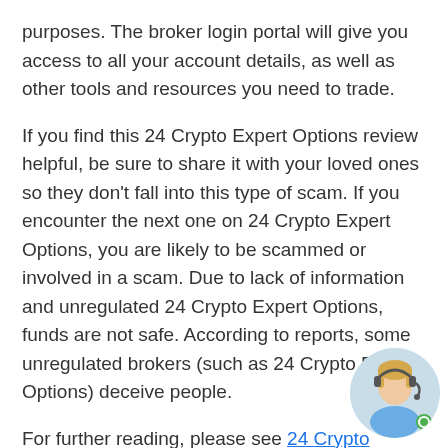purposes. The broker login portal will give you access to all your account details, as well as other tools and resources you need to trade.
If you find this 24 Crypto Expert Options review helpful, be sure to share it with your loved ones so they don't fall into this type of scam. If you encounter the next one on 24 Crypto Expert Options, you are likely to be scammed or involved in a scam. Due to lack of information and unregulated 24 Crypto Expert Options, funds are not safe. According to reports, some unregulated brokers (such as 24 Crypto Expert Options) deceive people.
For further reading, please see 24 Crypto Expert Options: fees
[Figure (photo): Chat support avatar: a woman wearing a headset, circular portrait with a green online indicator dot in the bottom right.]